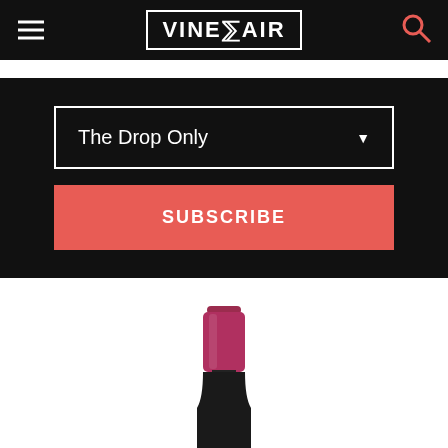[Figure (logo): VinePair logo in white text with border, on black navigation header bar with hamburger menu icon and search icon]
The Drop Only
SUBSCRIBE
[Figure (photo): Top of a wine bottle with a dark pink/crimson foil capsule, positioned in center of white background]